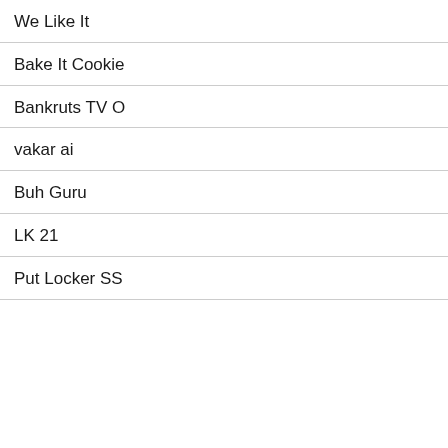We Like It
Bake It Cookie
Bankruts TV O
vakar ai
Buh Guru
LK 21
Put Locker SS